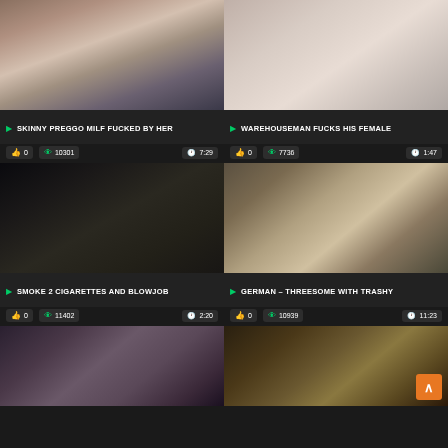[Figure (screenshot): Video thumbnail grid showing adult video website with 6 video thumbnails in 2-column layout]
SKINNY PREGGO MILF FUCKED BY HER
0  10301  7:29
WAREHOUSEMAN FUCKS HIS FEMALE
0  7736  1:47
SMOKE 2 CIGARETTES AND BLOWJOB
0  11402  2:20
GERMAN – THREESOME WITH TRASHY
0  10939  11:23